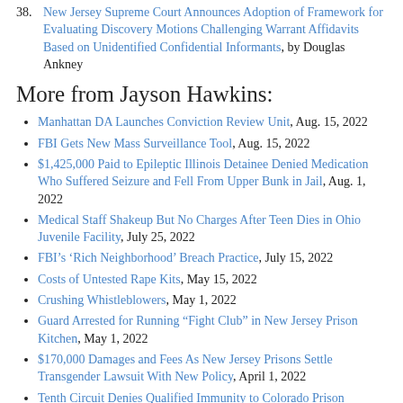38. New Jersey Supreme Court Announces Adoption of Framework for Evaluating Discovery Motions Challenging Warrant Affidavits Based on Unidentified Confidential Informants, by Douglas Ankney
More from Jayson Hawkins:
Manhattan DA Launches Conviction Review Unit, Aug. 15, 2022
FBI Gets New Mass Surveillance Tool, Aug. 15, 2022
$1,425,000 Paid to Epileptic Illinois Detainee Denied Medication Who Suffered Seizure and Fell From Upper Bunk in Jail, Aug. 1, 2022
Medical Staff Shakeup But No Charges After Teen Dies in Ohio Juvenile Facility, July 25, 2022
FBI’s ‘Rich Neighborhood’ Breach Practice, July 15, 2022
Costs of Untested Rape Kits, May 15, 2022
Crushing Whistleblowers, May 1, 2022
Guard Arrested for Running “Fight Club” in New Jersey Prison Kitchen, May 1, 2022
$170,000 Damages and Fees As New Jersey Prisons Settle Transgender Lawsuit With New Policy, April 1, 2022
Tenth Circuit Denies Qualified Immunity to Colorado Prison